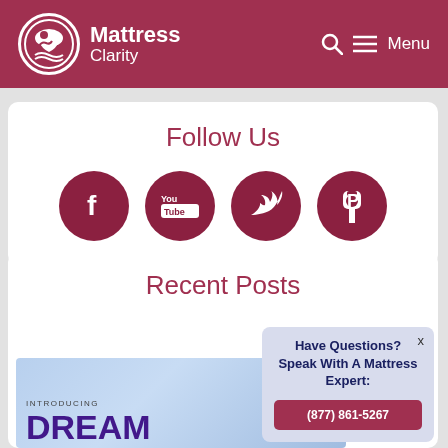Mattress Clarity | Menu
Follow Us
[Figure (infographic): Four social media icons: Facebook, YouTube, Twitter, Pinterest — dark red circles with white icons]
Recent Posts
[Figure (screenshot): Partial image showing 'INTRODUCING DREAM' text in purple on a light blue background]
Have Questions? Speak With A Mattress Expert: (877) 861-5267